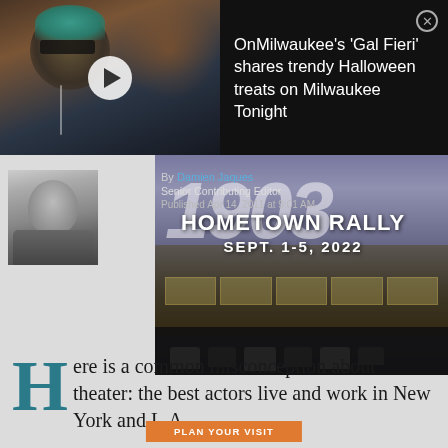[Figure (screenshot): Video thumbnail showing a person with teal hair and sunglasses, dark background, with white play button overlay]
OnMilwaukee's 'Gal Fieri' shares trendy Halloween treats on Milwaukee Tonight
[Figure (photo): Black and white author headshot photo of an older bald man]
By Damien Jaques
Senior Contributing Editor
Published Apr 14, 2011 at 9:01 AM
[Figure (photo): Nighttime photo of motorcycles parked outside a building showing '1903' signage, Hometown Rally event]
HOMETOWN RALLY
SEPT. 1-5, 2022
Here is a common misconception about theater: the best actors live and work in New York and L.A.
Not every actor wants to dwell in the cutthroat
PLAN YOUR VISIT